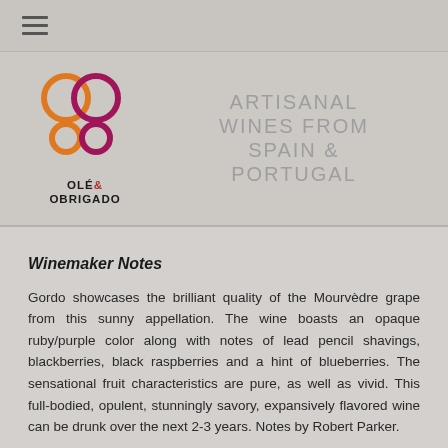≡
[Figure (logo): Olé & Obrigado logo with two stylized wine glasses made of orange and dark red/magenta overlapping circles, with text OLÉ & OBRIGADO below]
ARTISANAL WINES FROM SPAIN & PORTUGAL
Winemaker Notes
Gordo showcases the brilliant quality of the Mourvèdre grape from this sunny appellation. The wine boasts an opaque ruby/purple color along with notes of lead pencil shavings, blackberries, black raspberries and a hint of blueberries. The sensational fruit characteristics are pure, as well as vivid. This full-bodied, opulent, stunningly savory, expansively flavored wine can be drunk over the next 2-3 years. Notes by Robert Parker.